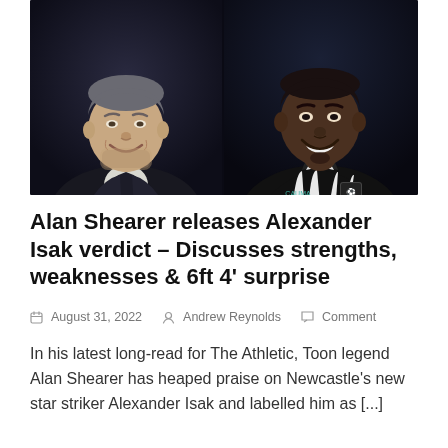[Figure (photo): Two men side by side: on the left, an older white man smiling in a dark cardigan over a white shirt against a dark background; on the right, a young Black man smiling wearing a black-and-white striped Newcastle United jersey with the Cauma logo and Newcastle badge.]
Alan Shearer releases Alexander Isak verdict – Discusses strengths, weaknesses & 6ft 4' surprise
August 31, 2022   Andrew Reynolds   Comment
In his latest long-read for The Athletic, Toon legend Alan Shearer has heaped praise on Newcastle's new star striker Alexander Isak and labelled him as [...]